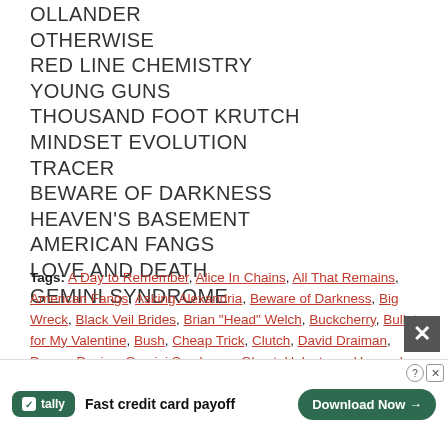OLLANDER
OTHERWISE
RED LINE CHEMISTRY
YOUNG GUNS
THOUSAND FOOT KRUTCH
MINDSET EVOLUTION
TRACER
BEWARE OF DARKNESS
HEAVEN'S BASEMENT
AMERICAN FANGS
LOVE AND DEATH
GEMINI SYNDROME
Tags: A Day to Remember, Alice In Chains, All That Remains, American Fangs, Asking Alexandria, Beware of Darkness, Big Wreck, Black Veil Brides, Brian "Head" Welch, Buckcherry, Bullet for My Valentine, Bush, Cheap Trick, Clutch, David Draiman, Deuce, Device, Gemini Syndrome, Ghost, Halestorm, Heaven's Basement, Helloween, In Flames, In This Moment, Kom, Lamb of God (partially cut), Mindset Evolution (partially cut), Roach (partially cut)
[Figure (other): Advertisement banner for Tally app: 'Fast credit card payoff' with Download Now button]